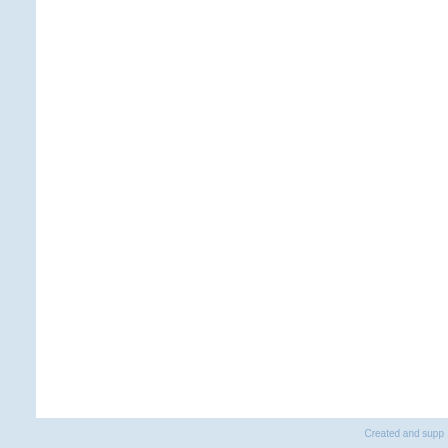RSS subscription
fac
Home    About Victor Pinchuk    About th
© 2006 - 2...
42-44 Shovk...
Created and supp...